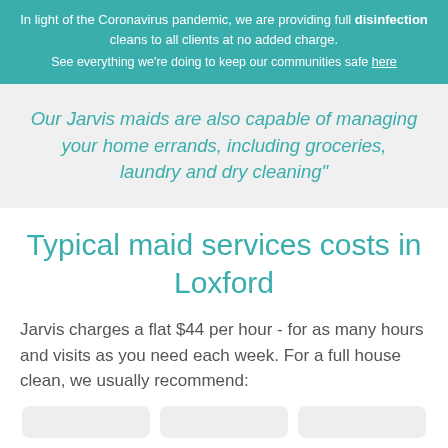In light of the Coronavirus pandemic, we are providing full disinfection cleans to all clients at no added charge. See everything we're doing to keep our communities safe here
Our Jarvis maids are also capable of managing your home errands, including groceries, laundry and dry cleaning"
Typical maid services costs in Loxford
Jarvis charges a flat $44 per hour - for as many hours and visits as you need each week. For a full house clean, we usually recommend: